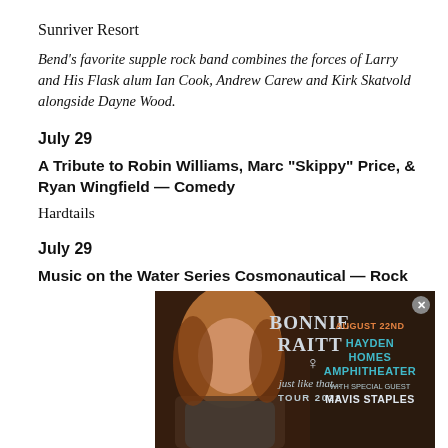Sunriver Resort
Bend's favorite supple rock band combines the forces of Larry and His Flask alum Ian Cook, Andrew Carew and Kirk Skatvold alongside Dayne Wood.
July 29
A Tribute to Robin Williams, Marc "Skippy" Price, & Ryan Wingfield — Comedy
Hardtails
July 29
Music on the Water Series Cosmonautical — Rock
[Figure (photo): Advertisement for Bonnie Raitt 'just like that... Tour 2022' at Hayden Homes Amphitheater, August 22nd, with special guest Mavis Staples. Features a photo of a red-haired woman (Bonnie Raitt) on a dark brown background with teal and orange text.]